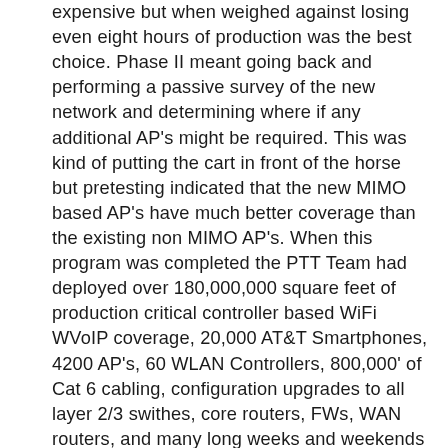expensive but when weighed against losing even eight hours of production was the best choice. Phase II meant going back and performing a passive survey of the new network and determining where if any additional AP's might be required. This was kind of putting the cart in front of the horse but pretesting indicated that the new MIMO based AP's have much better coverage than the existing non MIMO AP's. When this program was completed the PTT Team had deployed over 180,000,000 square feet of production critical controller based WiFi WVoIP coverage, 20,000 AT&T Smartphones, 4200 AP's, 60 WLAN Controllers, 800,000' of Cat 6 cabling, configuration upgrades to all layer 2/3 swithes, core routers, FWs, WAN routers, and many long weeks and weekends were put in by the PTT Team, with ZERO downtime or lost units! This was a dual role project in which INS was the Technical architect/lead and PMO with a team of six network engineers and six PM's. Monthly reporting of this project went to the board level.